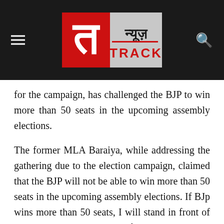News Track (न्यूज़ TRACK) logo with hamburger menu and search icon
for the campaign, has challenged the BJP to win more than 50 seats in the upcoming assembly elections.
The former MLA Baraiya, while addressing the gathering due to the election campaign, claimed that the BJP will not be able to win more than 50 seats in the upcoming assembly elections. If BJp wins more than 50 seats, I will stand in front of Raj Bhavan and blacken my face with my hands. Phool Singh Baraiya said that this has also been given by him in writing to senior BJP leaders.
In fact, congress leader Phool Singh Baraiya had come to campaign for the Congress in ward number